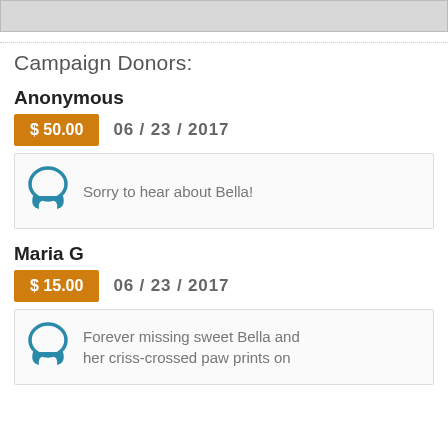[Figure (other): Gray image/banner box at top of page]
Campaign Donors:
Anonymous
$ 50.00   06 / 23 / 2017
Sorry to hear about Bella!
Maria G
$ 15.00   06 / 23 / 2017
Forever missing sweet Bella and her criss-crossed paw prints on